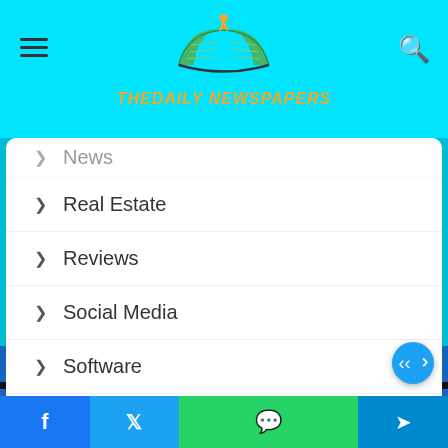THEDAILY NEWSPAPERS
News
Real Estate
Reviews
Social Media
Software
Sports
Technology
Travel
Website
Facebook | Twitter | WhatsApp | Telegram